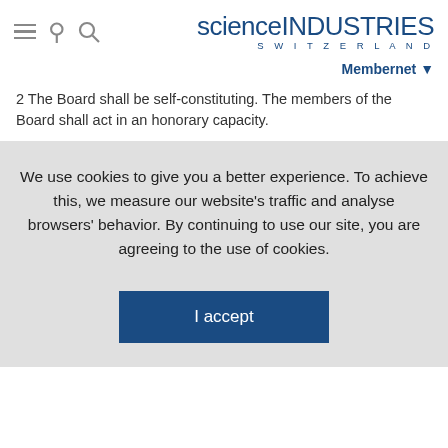scienceINDUSTRIES SWITZERLAND
Membernet
2 The Board shall be self-constituting. The members of the Board shall act in an honorary capacity.
We use cookies to give you a better experience. To achieve this, we measure our website's traffic and analyse browsers' behavior. By continuing to use our site, you are agreeing to the use of cookies.
I accept